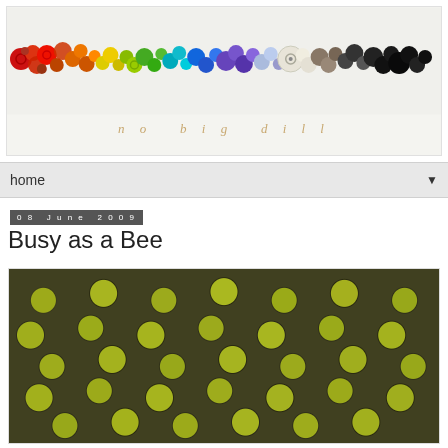[Figure (photo): Blog header banner showing colorful buttons arranged in a rainbow gradient from red to black on a light background, with the blog title 'no big dill' below in gold/tan italic text]
home
08 June 2009
Busy as a Bee
[Figure (photo): Close-up photograph of many yellow-green round buttons arranged in rows against a dark background]